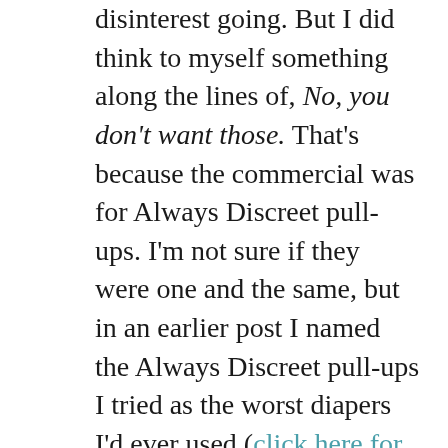disinterest going. But I did think to myself something along the lines of, No, you don't want those. That's because the commercial was for Always Discreet pull-ups. I'm not sure if they were one and the same, but in an earlier post I named the Always Discreet pull-ups I tried as the worst diapers I'd ever used (click here for the post).
Anyway, after my mom expressed joking interest in diapers, my sister replied something like, "You wanna wear diapers?" She said it with disgust.
"Yeah," my mom confirmed, then added something like, "I'm tired of using the bathroom."
I felt targeted with the way my mom said it (it